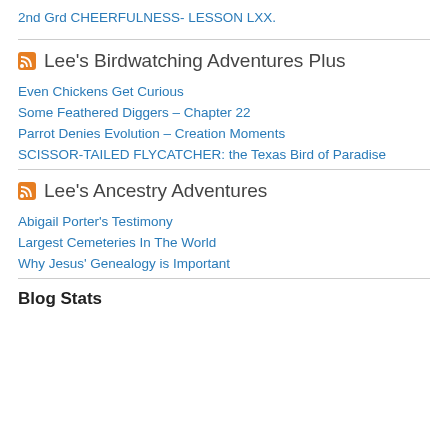2nd Grd CHEERFULNESS- LESSON LXX.
Lee's Birdwatching Adventures Plus
Even Chickens Get Curious
Some Feathered Diggers – Chapter 22
Parrot Denies Evolution – Creation Moments
SCISSOR-TAILED FLYCATCHER: the Texas Bird of Paradise
Lee's Ancestry Adventures
Abigail Porter's Testimony
Largest Cemeteries In The World
Why Jesus' Genealogy is Important
Blog Stats